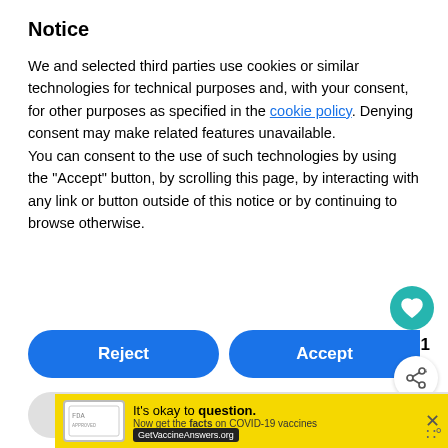Notice
We and selected third parties use cookies or similar technologies for technical purposes and, with your consent, for other purposes as specified in the cookie policy. Denying consent may make related features unavailable.
You can consent to the use of such technologies by using the “Accept” button, by scrolling this page, by interacting with any link or button outside of this notice or by continuing to browse otherwise.
[Figure (screenshot): Reject and Accept consent buttons (blue pill-shaped), Learn more and customize button (grey), heart icon button (teal), share icon, count of 1, What's Next panel with thumbnail, landscape photo strip, and COVID-19 vaccine ad banner]